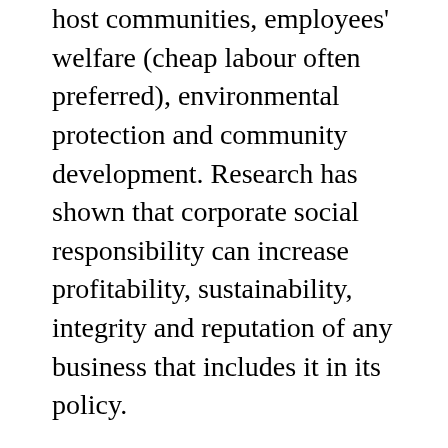host communities, employees' welfare (cheap labour often preferred), environmental protection and community development. Research has shown that corporate social responsibility can increase profitability, sustainability, integrity and reputation of any business that includes it in its policy.
Nkanga (2007) posited that corporate social responsibility involves the commitment shown by companies to contribute to the economic development of a local community and the society at large. The adoption of corporate social responsibility policy